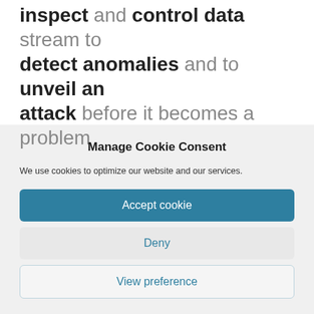inspect and control data stream to detect anomalies and to unveil an attack before it becomes a problem
Manage Cookie Consent
We use cookies to optimize our website and our services.
Accept cookie
Deny
View preference